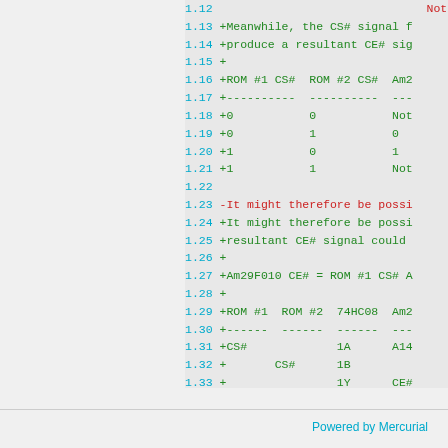Diff view showing lines 1.12-1.36 of a patch file with ROM CS# signal logic and table data
Powered by Mercurial